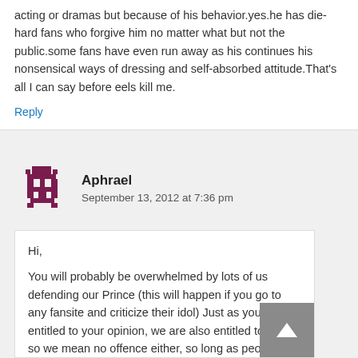acting or dramas but because of his behavior.yes.he has die-hard fans who forgive him no matter what but not the public.some fans have even run away as his continues his nonsensical ways of dressing and self-absorbed attitude.That's all I can say before eels kill me.
Reply
Aphrael
September 13, 2012 at 7:36 pm
Hi,
You will probably be overwhelmed by lots of us defending our Prince (this will happen if you go to any fansite and criticize their idol) Just as you are entitled to your opinion, we are also entitled to ours, so we mean no offence either, so long as people express their opinions in a